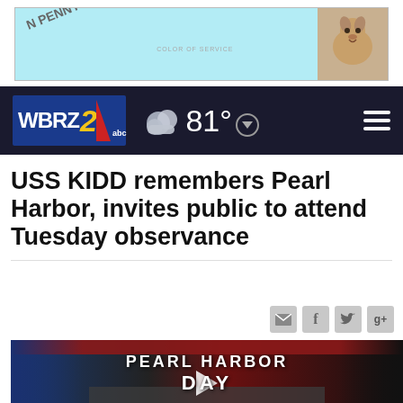[Figure (screenshot): Advertisement banner with light blue background, text 'N PENNY FOR' rotated diagonally, small text in center, and a dog photo on the right side]
[Figure (screenshot): WBRZ 2 ABC news station navigation bar on dark background with logo, partly cloudy weather icon, temperature 81 degrees, and hamburger menu icon]
USS KIDD remembers Pearl Harbor, invites public to attend Tuesday observance
[Figure (screenshot): Social media sharing icons: email, Facebook, Twitter, Google+]
[Figure (screenshot): News broadcast video thumbnail showing two anchors in studio with 'PEARL HARBOR DAY' graphic overlay and play button]